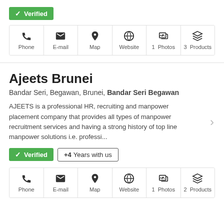[Figure (infographic): Verified badge (green) with checkmark icon]
[Figure (infographic): Icon bar with Phone, E-mail, Map, Website, Photos (1), Products (3)]
Ajeets Brunei
Bandar Seri, Begawan, Brunei, Bandar Seri Begawan
AJEETS is a professional HR, recruiting and manpower placement company that provides all types of manpower recruitment services and having a strong history of top line manpower solutions i.e. professi...
[Figure (infographic): Verified badge and +4 Years with us badge]
[Figure (infographic): Icon bar with Phone, E-mail, Map, Website, Photos (1), Products (2)]